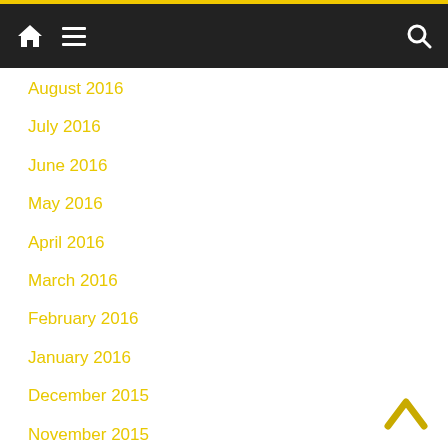Navigation bar with home, menu, and search icons
August 2016
July 2016
June 2016
May 2016
April 2016
March 2016
February 2016
January 2016
December 2015
November 2015
October 2015
September 2015
August 2015